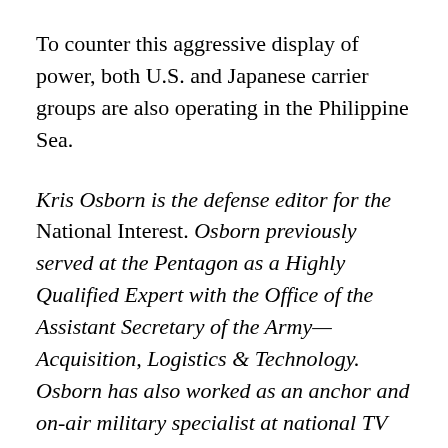To counter this aggressive display of power, both U.S. and Japanese carrier groups are also operating in the Philippine Sea.
Kris Osborn is the defense editor for the National Interest. Osborn previously served at the Pentagon as a Highly Qualified Expert with the Office of the Assistant Secretary of the Army—Acquisition, Logistics & Technology. Osborn has also worked as an anchor and on-air military specialist at national TV networks. He has appeared as a guest military expert on Fox News, MSNBC, The Military Channel, and The History Channel. He also has a Master's Degree in Comparative Literature from Columbia